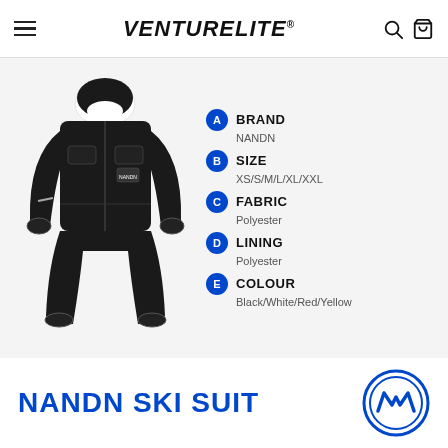VENTURELITE®
[Figure (photo): Black NANDN ski suit / one-piece snowsuit with white hood accent, photographed on a white background]
A BRAND — NANDN
B SIZE — XS/S/M/L/XL/XXL
C FABRIC — Polyester
D LINING — Polyester
E COLOUR — Black/White/Red/Yellow
NANDN SKI SUIT
[Figure (logo): NANDN brand circular logo with stylized M/wave mark in blue]